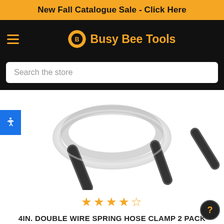New Fall Catalogue Sale - Click Here
[Figure (logo): Busy Bee Tools logo with gear icon and text on black navigation bar with hamburger menu]
Search the store
[Figure (photo): Close-up product photo of a 4-inch double wire spring hose clamp with black rubber-tipped handles on white background]
★★★★☆
4IN. DOUBLE WIRE SPRING HOSE CLAMP 2 PACK
CAD ¢17.99